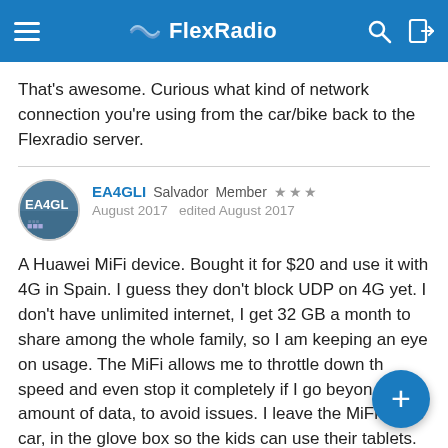FlexRadio
That's awesome.  Curious what kind of network connection you're using from the car/bike back to the Flexradio server.
EA4GLI  Salvador  Member  ★★★
August 2017  edited August 2017
A Huawei MiFi device. Bought it for $20 and use it with 4G in Spain. I guess they don't block UDP on 4G yet. I don't have unlimited internet, I get 32 GB a month to share among the whole family, so I am keeping an eye on usage. The MiFi allows me to throttle down the speed and even stop it completely if I go beyond amount of data, to avoid issues. I leave the MiFi in the car, in the glove box so the kids can use their tablets.